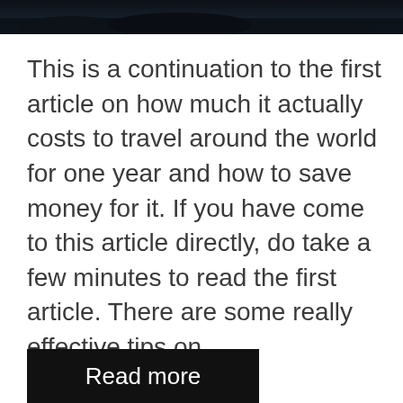[Figure (photo): Dark photograph banner at the top of the page, showing a dark landscape or forest scene]
This is a continuation to the first article on how much it actually costs to travel around the world for one year and how to save money for it. If you have come to this article directly, do take a few minutes to read the first article. There are some really effective tips on …
Read more